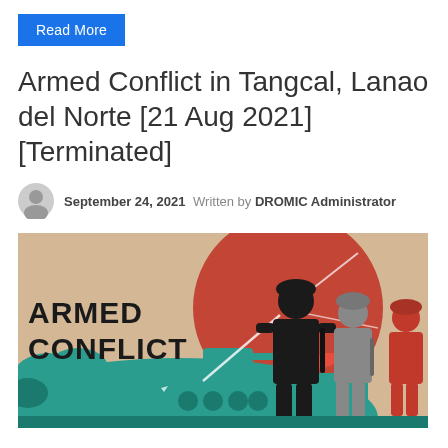Read More
Armed Conflict in Tangcal, Lanao del Norte [21 Aug 2021][Terminated]
September 24, 2021   Written by DROMIC Administrator
[Figure (illustration): Armed Conflict illustrated graphic showing silhouettes of soldiers, a military tank, and bold text reading 'ARMED CONFLICT' on a stylized background of teal, red, and beige tones.]